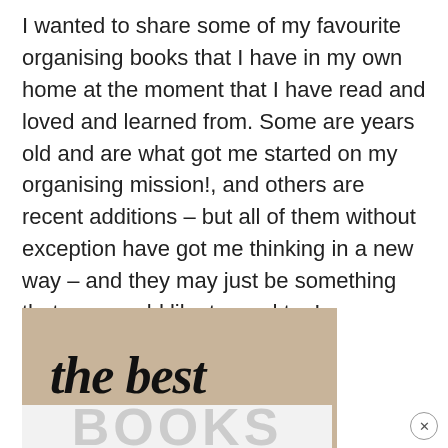I wanted to share some of my favourite organising books that I have in my own home at the moment that I have read and loved and learned from. Some are years old and are what got me started on my organising mission!, and others are recent additions – but all of them without exception have got me thinking in a new way – and they may just be something that you would like to read too!
[Figure (photo): A partially visible book or image with a kraft paper / tan background showing cursive text 'the best' and below it large uppercase letters 'BOOKS' in light grey on a white/light grey background.]